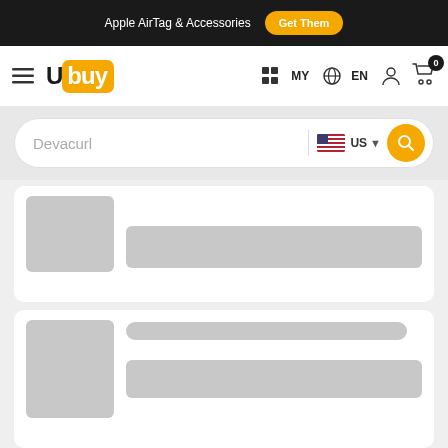Apple AirTag & Accessories  Get Them
[Figure (screenshot): Ubuy logo with hamburger menu, MY/EN language selectors, user icon, and cart with badge 0]
Devacurl  US
[Figure (screenshot): Loading placeholder card 1 with grey image area and grey content bar]
[Figure (screenshot): Loading placeholder card 2 with grey image area and grey title bar]